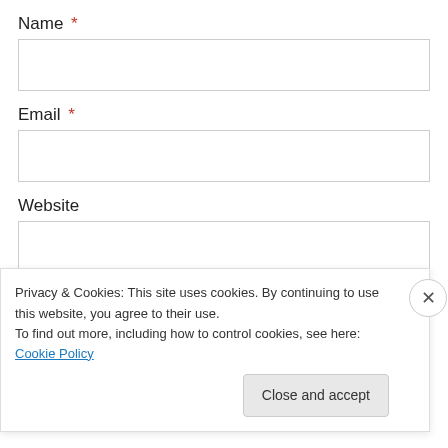Name *
[Figure (other): Empty text input field for Name]
Email *
[Figure (other): Empty text input field for Email]
Website
[Figure (other): Empty text input field for Website]
[Figure (other): Blue Post Comment button]
Privacy & Cookies: This site uses cookies. By continuing to use this website, you agree to their use.
To find out more, including how to control cookies, see here: Cookie Policy
Close and accept